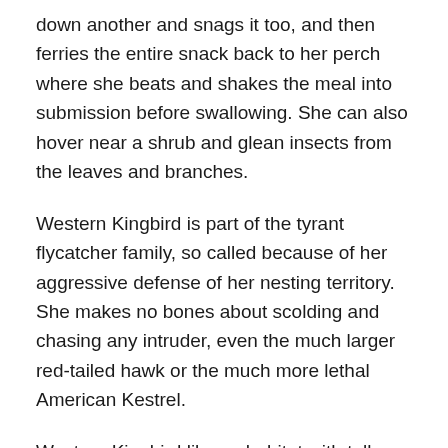down another and snags it too, and then ferries the entire snack back to her perch where she beats and shakes the meal into submission before swallowing. She can also hover near a shrub and glean insects from the leaves and branches.
Western Kingbird is part of the tyrant flycatcher family, so called because of her aggressive defense of her nesting territory. She makes no bones about scolding and chasing any intruder, even the much larger red-tailed hawk or the much more lethal American Kestrel.
Western Kingbird likes a habitat with tall perches and open areas where she can hunt. We must have had a nice hatch of tasty tidbits that attracted her to our yard. Or maybe it was the water. Maybe the two together